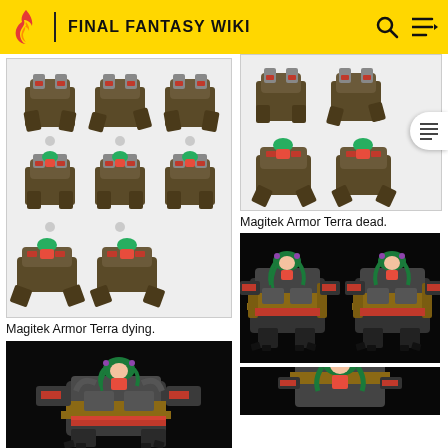FINAL FANTASY WIKI
[Figure (illustration): Sprite sheet of Magitek Armor Terra dying animation frames, shown in a 3x3 grid on light background]
Magitek Armor Terra dying.
[Figure (screenshot): Magitek Armor with Terra character rendered in detailed pixel art on black background]
[Figure (illustration): Sprite sheet of Magitek Armor Terra dead frames shown on light background with TOC button]
Magitek Armor Terra dead.
[Figure (screenshot): Magitek Armor with Terra character in detailed pixel art on black background (two variants side by side)]
[Figure (screenshot): Magitek Armor with Terra character pixel art on black background, partially visible]